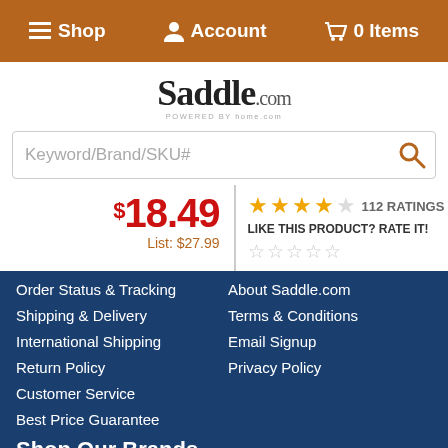Shop  Account  0 Items
[Figure (logo): Saddle.com logo with 'POWERED BY home.com' subtitle]
Keyword/Brand/SKU#
$18.49  List: $27.99
112 RATINGS  LIKE THIS PRODUCT? RATE IT!
Order Status & Tracking
Shipping & Delivery
International Shipping
Return Policy
Customer Service
Best Price Guarantee
About Saddle.com
Terms & Conditions
Email Signup
Privacy Policy
Shop Our Brands
By Continuing to use our site, you consent to our use of cookies to improve your experience. Learn more
- 1 + Add to Cart